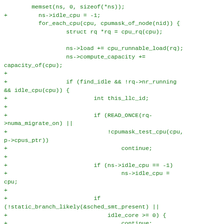[Figure (other): Source code diff snippet showing C kernel scheduler code with added lines (prefixed with +) in green, including memset, ns->idle_cpu initialization, for_each_cpu loop with load and capacity calculations, find_idle checks, READ_ONCE numa_migrate checks, cpumask_test_cpu, idle_cpu comparisons, static_branch_likely sched_smt_present checks, and idle_core conditions.]